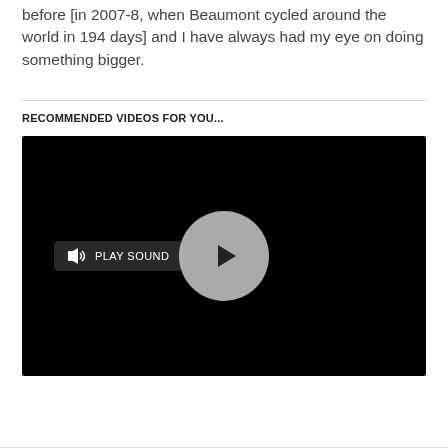before [in 2007-8, when Beaumont cycled around the world in 194 days] and I have always had my eye on doing something bigger.
RECOMMENDED VIDEOS FOR YOU...
[Figure (screenshot): A video player with black background, a 'PLAY SOUND' button on the left with a speaker icon, and a circular play button in the center.]